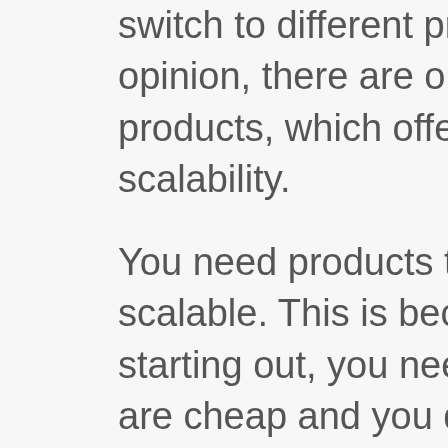switch to different products. In our opinion, there are only a few products, which offer top notch scalability.
You need products that are highly scalable. This is because when you're starting out, you need products that are cheap and you don't need 100s of features. As your business grows, those products should be able to accommodate your growing needs. With such products, instead of looking for solutions, switching products